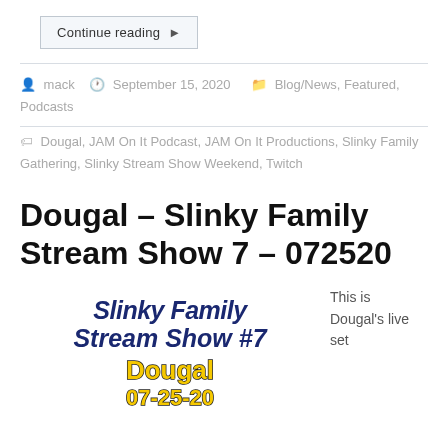Continue reading
mack   September 15, 2020   Blog/News, Featured, Podcasts
Dougal, JAM On It Podcast, JAM On It Productions, Slinky Family Gathering, Slinky Stream Show Weekend, Twitch
Dougal – Slinky Family Stream Show 7 – 072520
[Figure (illustration): Poster image for Slinky Family Stream Show #7 featuring Dougal on 07-25-20, with dark navy bold italic text and gold outlined text on white background]
This is Dougal's live set